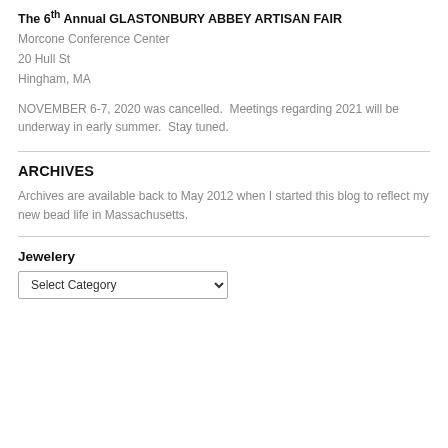The 6th Annual GLASTONBURY ABBEY ARTISAN FAIR
Morcone Conference Center
20 Hull St
Hingham, MA
NOVEMBER 6-7, 2020 was cancelled.  Meetings regarding 2021 will be underway in early summer.  Stay tuned.
ARCHIVES
Archives are available back to May 2012 when I started this blog to reflect my new bead life in Massachusetts.
Jewelery
Select Category